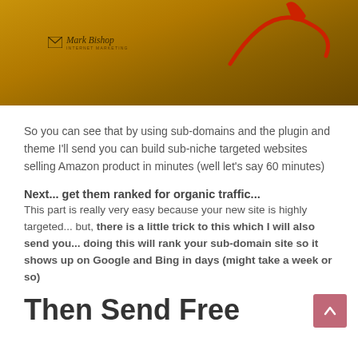[Figure (photo): A warm golden-orange background with decorative red swirl/arrow graphic and a 'Mark Bishop Internet Marketing' logo in the upper left area of the image.]
So you can see that by using sub-domains and the plugin and theme I'll send you can build sub-niche targeted websites selling Amazon product in minutes (well let's say 60 minutes)
Next... get them ranked for organic traffic...
This part is really very easy because your new site is highly targeted... but, there is a little trick to this which I will also send you... doing this will rank your sub-domain site so it shows up on Google and Bing in days (might take a week or so)
Then Send Free